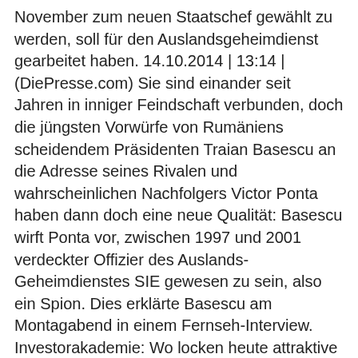November zum neuen Staatschef gewählt zu werden, soll für den Auslandsgeheimdienst gearbeitet haben. 14.10.2014 | 13:14 | (DiePresse.com) Sie sind einander seit Jahren in inniger Feindschaft verbunden, doch die jüngsten Vorwürfe von Rumäniens scheidendem Präsidenten Traian Basescu an die Adresse seines Rivalen und wahrscheinlichen Nachfolgers Victor Ponta haben dann doch eine neue Qualität: Basescu wirft Ponta vor, zwischen 1997 und 2001 verdeckter Offizier des Auslands-Geheimdienstes SIE gewesen zu sein, also ein Spion. Dies erklärte Basescu am Montagabend in einem Fernseh-Interview. Investorakademie: Wo locken heute attraktive Zinsen? Hören Sie Branchenexperten am 23. Oktober 2014 um 18:00 Uhr im mumok: Lounge und erfahren Sie welche Anlageformen profitabel sind. Weitere Informationen » Das erkläre laut Basescu auch den raschen Aufstieg des damals als Staatsanwalt tätigen Ponta von einer Bukarester Bezirksstaatsanwaltschaft direkt zur Generalstaatsanwaltschaft, der er 1998 zugewiesen wurde. „Es ist gar keine Bombe, es ist eine Realität, die ich nachzuweisen bereit bin", sagte Basescu. Ponta: "Bloße Lügen" Nachdem der Präsident bereits vor Wochen